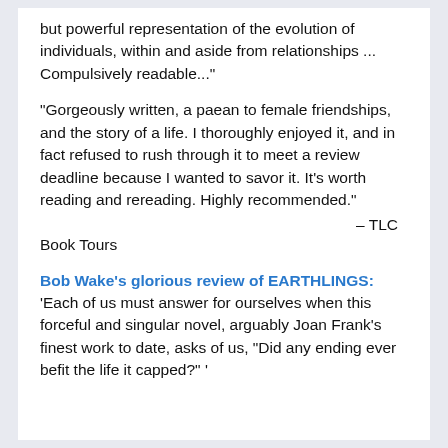but powerful representation of the evolution of individuals, within and aside from relationships ... Compulsively readable..."
"Gorgeously written, a paean to female friendships, and the story of a life. I thoroughly enjoyed it, and in fact refused to rush through it to meet a review deadline because I wanted to savor it. It's worth reading and rereading. Highly recommended."
— TLC
Book Tours
Bob Wake's glorious review of EARTHLINGS:
'Each of us must answer for ourselves when this forceful and singular novel, arguably Joan Frank's finest work to date, asks of us, "Did any ending ever befit the life it capped?" '